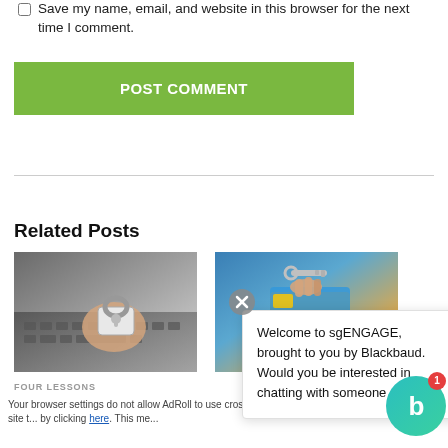Save my name, email, and website in this browser for the next time I comment.
POST COMMENT
Related Posts
[Figure (photo): Hand holding a padlock in front of a laptop keyboard]
[Figure (photo): Hand holding a key over a stack of credit cards]
FOUR LESSONS
Welcome to sgENGAGE, brought to you by Blackbaud. Would you be interested in chatting with someone o...
Your browser settings do not allow AdRoll to use cross-site t... by clicking here. This me...